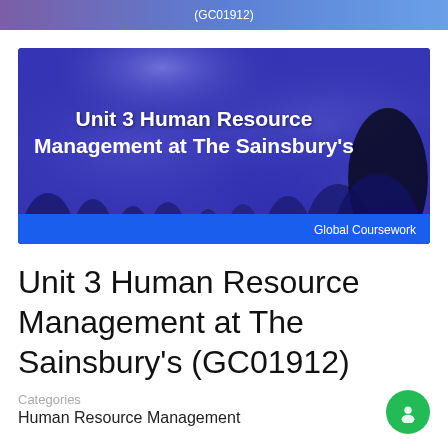(GC01912)
[Figure (photo): Blue-tinted crowd/audience photo with text overlay reading 'Unit 3 Human Resource Management at The Sainsbury's' and 'Global Coursework' branding banner at bottom]
Unit 3 Human Resource Management at The Sainsbury's (GC01912)
Categories
Human Resource Management